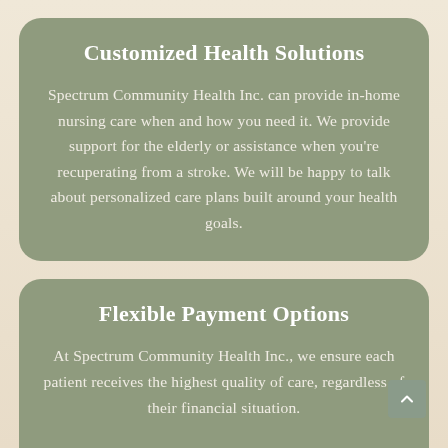Customized Health Solutions
Spectrum Community Health Inc. can provide in-home nursing care when and how you need it. We provide support for the elderly or assistance when you're recuperating from a stroke. We will be happy to talk about personalized care plans built around your health goals.
Flexible Payment Options
At Spectrum Community Health Inc., we ensure each patient receives the highest quality of care, regardless of their financial situation.